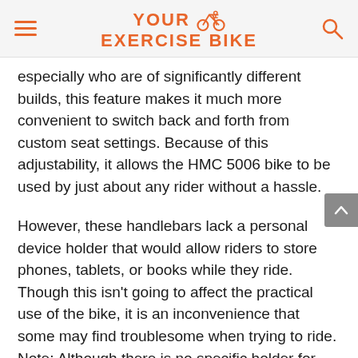YOUR EXERCISE BIKE
especially who are of significantly different builds, this feature makes it much more convenient to switch back and forth from custom seat settings. Because of this adjustability, it allows the HMC 5006 bike to be used by just about any rider without a hassle.
However, these handlebars lack a personal device holder that would allow riders to store phones, tablets, or books while they ride. Though this isn't going to affect the practical use of the bike, it is an inconvenience that some may find troublesome when trying to ride. Note: Although there is no specific holder for your drive, you can still keep